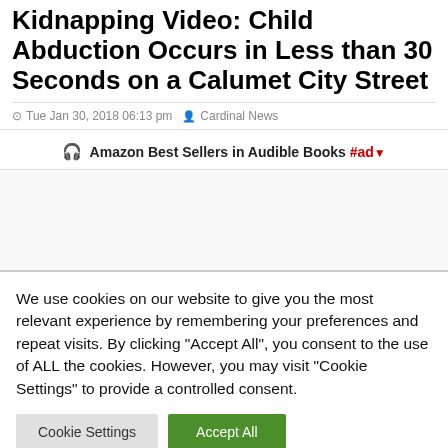Kidnapping Video: Child Abduction Occurs in Less than 30 Seconds on a Calumet City Street
Tue Jan 30, 2018 06:13 pm   Cardinal News
🎧 Amazon Best Sellers in Audible Books #ad▼
We use cookies on our website to give you the most relevant experience by remembering your preferences and repeat visits. By clicking "Accept All", you consent to the use of ALL the cookies. However, you may visit "Cookie Settings" to provide a controlled consent.